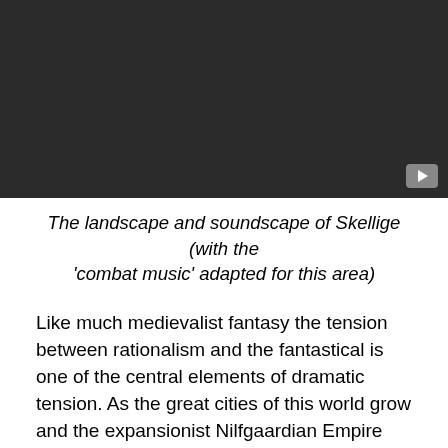[Figure (screenshot): Dark video player thumbnail with YouTube play button in bottom-right corner]
The landscape and soundscape of Skellige (with the 'combat music' adapted for this area)
Like much medievalist fantasy the tension between rationalism and the fantastical is one of the central elements of dramatic tension. As the great cities of this world grow and the expansionist Nilfgaardian Empire press forward, the pre-modern world of The Witcher shrinks. Allied to the spread of rationalism, we also see the 'Church of the Eternal Fire' (an identifiable stand-in for Christianity) seek to eradicate magic, non-human populations, and more identifiably 'pagan' religions. The